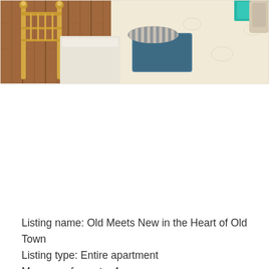[Figure (photo): Bedroom photo showing a brass bed frame on a wooden floor, with folded blue/teal towels and a rolled striped towel on a floral patterned rug. A teal cushion/item is visible at the top right.]
Listing name: Old Meets New in the Heart of Old Town
Listing type: Entire apartment
Max. no. of guests: 4